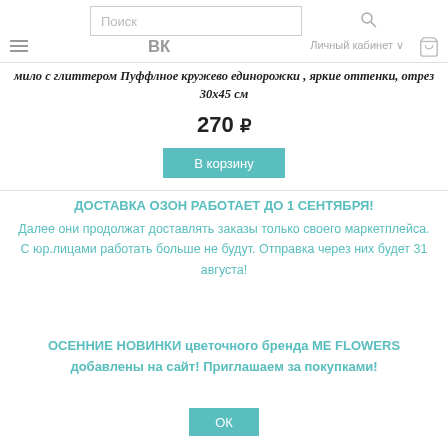Поиск | ВК | Личный кабинет
мило с глиттером  Пуффлное кружево единорожки , яркие оттенки, отрез 30x45 см
270 ₽
В корзину
ДОСТАВКА ОЗОН РАБОТАЕТ ДО 1 СЕНТЯБРЯ!
Далее они продолжат доставлять заказы только своего маркетплейса. С юр.лицами работать больше не будут. Отправка через них будет 31 августа!
ОСЕННИЕ НОВИНКИ цветочного бренда ME FLOWERS добавлены на сайт! Приглашаем за покупками!
ОК